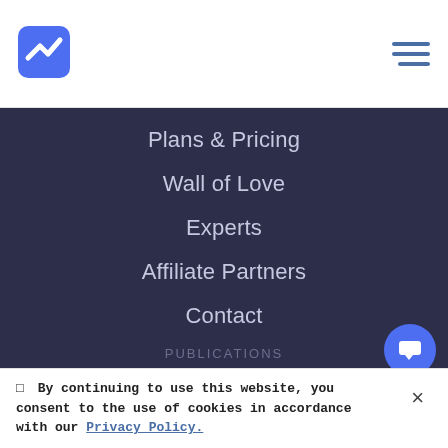[Figure (logo): Blue angular checkmark/thunderbolt logo icon]
Plans & Pricing
Wall of Love
Experts
Affiliate Partners
Contact
PUBLICATIONS
Blog
Academy
Founder Chats
Comparisons
By continuing to use this website, you consent to the use of cookies in accordance with our Privacy Policy.